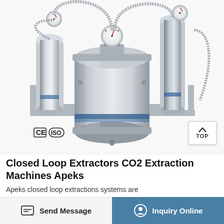[Figure (photo): Stainless steel closed loop CO2 extraction machine with pressure gauges, tubes, and valves on a metal frame. CE and ISO certification marks visible in lower left. 'TOP' badge visible in lower right of image.]
Closed Loop Extractors CO2 Extraction Machines Apeks
Apeks closed loop extractions systems are
Send Message
Inquiry Online